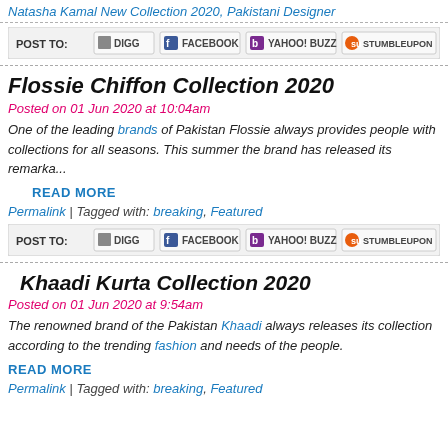Natasha Kamal New Collection 2020, Pakistani Designer
[Figure (screenshot): POST TO social sharing bar with DIGG, FACEBOOK, YAHOO! BUZZ, STUMBLEUPON buttons]
Flossie Chiffon Collection 2020
Posted on 01 Jun 2020 at 10:04am
One of the leading brands of Pakistan Flossie always provides people with collections for all seasons. This summer the brand has released its remarka...
READ MORE
Permalink  |  Tagged with: breaking, Featured
[Figure (screenshot): POST TO social sharing bar with DIGG, FACEBOOK, YAHOO! BUZZ, STUMBLEUPON buttons]
Khaadi Kurta Collection 2020
Posted on 01 Jun 2020 at 9:54am
The renowned brand of the Pakistan Khaadi always releases its collection according to the trending fashion and needs of the people.
READ MORE
Permalink  |  Tagged with: breaking, Featured